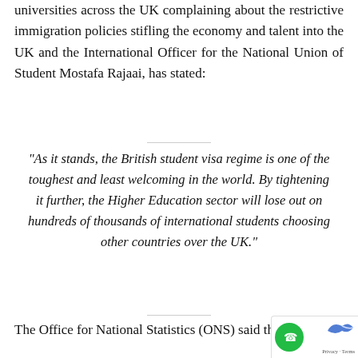universities across the UK complaining about the restrictive immigration policies stifling the economy and talent into the UK and the International Officer for the National Union of Student Mostafa Rajaai, has stated:
“As it stands, the British student visa regime is one of the toughest and least welcoming in the world. By tightening it further, the Higher Education sector will lose out on hundreds of thousands of international students choosing other countries over the UK.”
The Office for National Statistics (ONS) said the